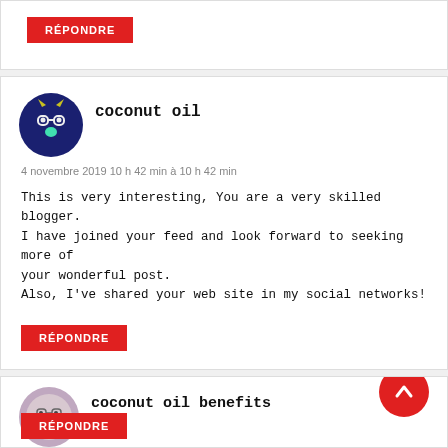RÉPONDRE (button)
coconut oil
4 novembre 2019 10 h 42 min à 10 h 42 min
This is very interesting, You are a very skilled blogger. I have joined your feed and look forward to seeking more of your wonderful post.
Also, I've shared your web site in my social networks!
RÉPONDRE (button)
coconut oil benefits
9 novembre 2019 16 h 56 min à 16 h 56 min
I like looking through a post that will make people think. Also, thanks for allowing me to comment!
RÉPONDRE (button)